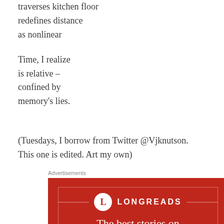traverses kitchen floor
redefines distance
as nonlinear
Time, I realize
is relative –
confined by
memory's lies.
(Tuesdays, I borrow from Twitter @Vjknutson. This one is edited. Art my own)
Advertisements
[Figure (logo): Longreads advertisement banner on red background with logo circle containing 'L', brand name LONGREADS, decorative border, and tagline 'The best stories on the web – ours, and everyone else's.']